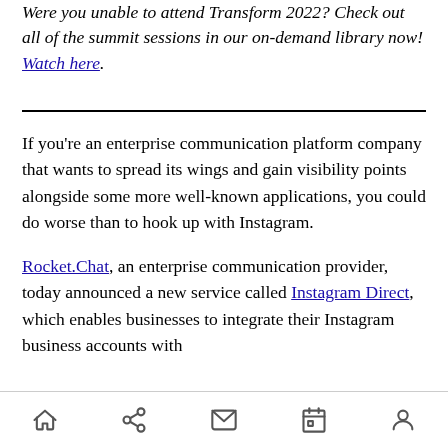Were you unable to attend Transform 2022? Check out all of the summit sessions in our on-demand library now! Watch here.
If you're an enterprise communication platform company that wants to spread its wings and gain visibility points alongside some more well-known applications, you could do worse than to hook up with Instagram.
Rocket.Chat, an enterprise communication provider, today announced a new service called Instagram Direct, which enables businesses to integrate their Instagram business accounts with
[navigation icons: home, share, mail, calendar, person]